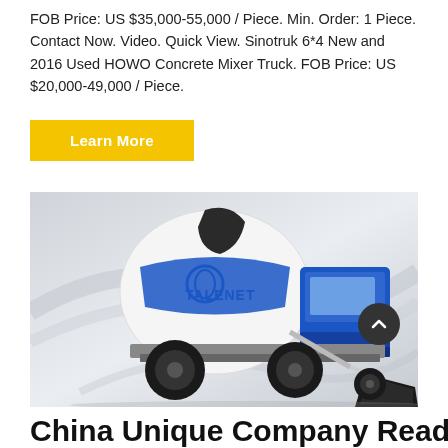FOB Price: US $35,000-55,000 / Piece. Min. Order: 1 Piece. Contact Now. Video. Quick View. Sinotruk 6*4 New and 2016 Used HOWO Concrete Mixer Truck. FOB Price: US $20,000-49,000 / Piece.
Learn More
[Figure (photo): A white and blue TALENET branded self-loading concrete mixer truck with a large drum and front-mounted loading bucket, photographed against a light grey studio background with decorative swirl lines.]
China Unique Company Ready Mix Truck,